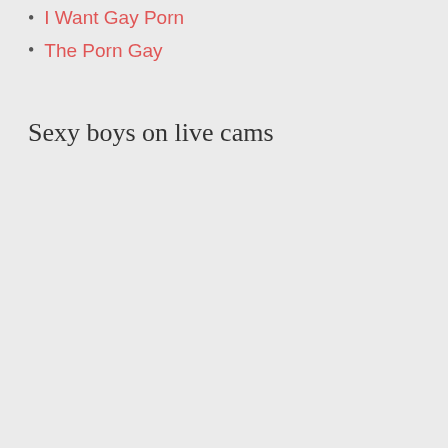I Want Gay Porn
The Porn Gay
Sexy boys on live cams